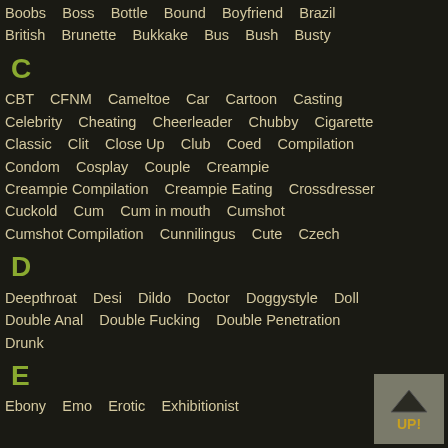Boobs   Boss   Bottle   Bound   Boyfriend   Brazil
British   Brunette   Bukkake   Bus   Bush   Busty
C
CBT   CFNM   Cameltoe   Car   Cartoon   Casting
Celebrity   Cheating   Cheerleader   Chubby   Cigarette
Classic   Clit   Close Up   Club   Coed   Compilation
Condom   Cosplay   Couple   Creampie
Creampie Compilation   Creampie Eating   Crossdresser
Cuckold   Cum   Cum in mouth   Cumshot
Cumshot Compilation   Cunnilingus   Cute   Czech
D
Deepthroat   Desi   Dildo   Doctor   Doggystyle   Doll
Double Anal   Double Fucking   Double Penetration
Drunk
E
Ebony   Emo   Erotic   Exhibitionist